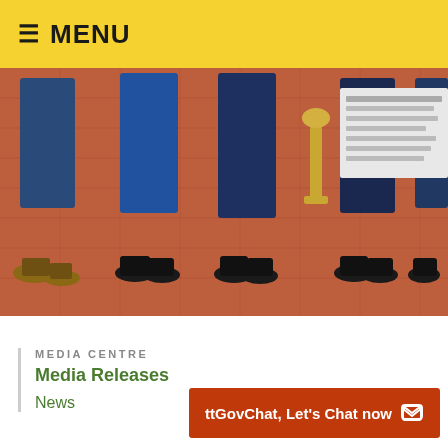≡ MENU
[Figure (photo): Photograph showing legs and feet of several people standing on a patterned red/orange carpet, with a stand or trophy visible in the background]
Photo caption: Minister of Agriculture, Land and Fisheries, Senator (left), is flanked by lease letter recipients, following a Lease Letter D Office of the Ministry of Agriculture, Land and Fisheries on Friday 1
MEDIA CENTRE
Media Releases
News
ttGovChat, Let's Chat now